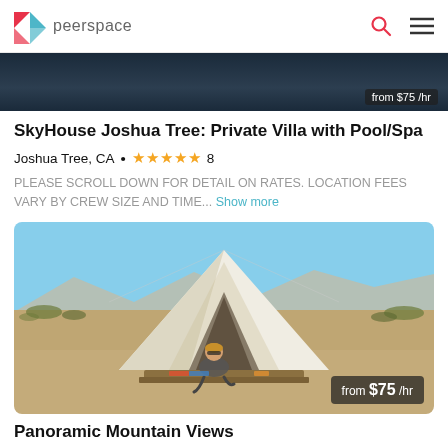peerspace
[Figure (photo): Partial view of a dark nighttime or indoor scene, with a price overlay reading 'from $75/hr']
SkyHouse Joshua Tree: Private Villa with Pool/Spa
Joshua Tree, CA • ★★★★★ 8
PLEASE SCROLL DOWN FOR DETAIL ON RATES. LOCATION FEES VARY BY CREW SIZE AND TIME... Show more
[Figure (photo): A woman sitting in the entrance of a large white bell tent in a desert landscape with mountains in the background. Price overlay reads 'from $75 /hr']
Panoramic Mountain Views